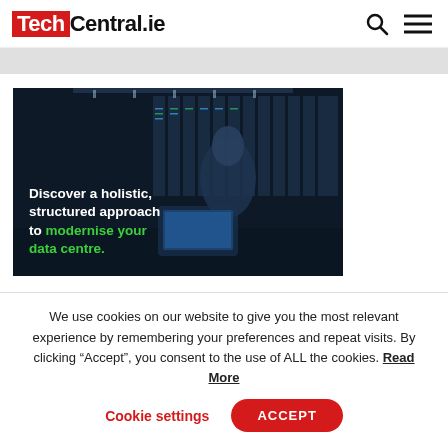TechCentral.ie
[Figure (photo): Advertisement banner showing a woman working on a laptop in a data center, with overlaid text: 'Discover a holistic, structured approach to modernise your data centre.']
We use cookies on our website to give you the most relevant experience by remembering your preferences and repeat visits. By clicking “Accept”, you consent to the use of ALL the cookies. Read More
Cookie settings  ACCEPT